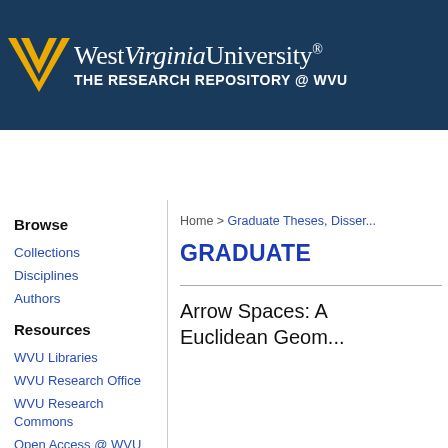[Figure (logo): West Virginia University Flying WV logo in gold/yellow with serif wordmark 'WestVirginiaUniversity.' in white and subtitle 'THE RESEARCH REPOSITORY @ WVU' in white bold on dark navy background]
Home   About   FAQ   My Account   Contact Us
Browse
Collections
Disciplines
Authors
Resources
WVU Libraries
WVU Research Office
WVU Research Commons
Open Access @ WVU
Home > Graduate Theses, Disser...
GRADUATE
Arrow Spaces: A... Euclidean Geom...